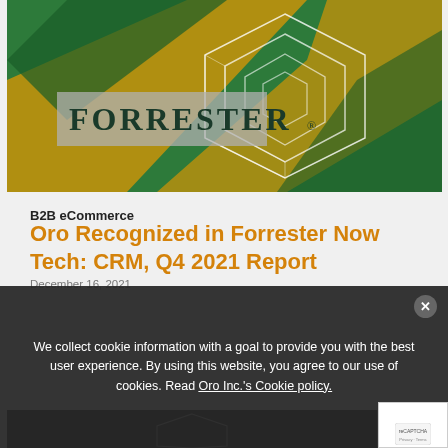[Figure (logo): Forrester brand image with geometric hexagonal pattern in green and gold/yellow colors, Forrester logo on grey banner in upper left]
B2B eCommerce
Oro Recognized in Forrester Now Tech: CRM, Q4 2021 Report
December 16, 2021
We collect cookie information with a goal to provide you with the best user experience. By using this website, you agree to our use of cookies. Read Oro Inc.'s Cookie policy.
[Figure (photo): Partially visible image at bottom of page with dark background showing geometric pattern]